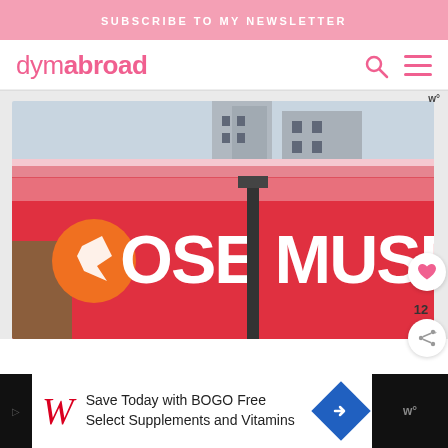SUBSCRIBE TO MY NEWSLETTER
[Figure (logo): dymabroad website logo in pink with search and hamburger menu icons]
[Figure (photo): Close-up photo of a sign reading 'JOSE MUSEUM' with red background and orange circular logo, person partially visible on left]
12
[Figure (other): Advertisement: Save Today with BOGO Free Select Supplements and Vitamins - Walgreens ad with W script logo and blue navigation arrow]